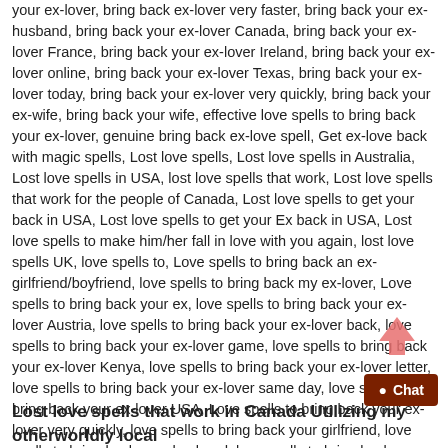your ex-lover, bring back ex-lover very faster, bring back your ex-husband, bring back your ex-lover Canada, bring back your ex-lover France, bring back your ex-lover Ireland, bring back your ex-lover online, bring back your ex-lover Texas, bring back your ex-lover today, bring back your ex-lover very quickly, bring back your ex-wife, bring back your wife, effective love spells to bring back your ex-lover, genuine bring back ex-love spell, Get ex-love back with magic spells, Lost love spells, Lost love spells in Australia, Lost love spells in USA, lost love spells that work, Lost love spells that work for the people of Canada, Lost love spells to get your back in USA, Lost love spells to get your Ex back in USA, Lost love spells to make him/her fall in love with you again, lost love spells UK, love spells to, Love spells to bring back an ex-girlfriend/boyfriend, love spells to bring back my ex-lover, Love spells to bring back your ex, love spells to bring back your ex-lover Austria, love spells to bring back your ex-lover back, love spells to bring back your ex-lover game, love spells to bring back your ex-lover Kenya, love spells to bring back your ex-lover letter, love spells to bring back your ex-lover same day, love spells to bring back your ex-lover USA, Love spells to bring back your ex-lover very quickly, love spells to bring back your girlfriend, love spells to bring back your husband, love spells to bring back your lost lover, love spells to get back your ex-lover, love spells to get your ex-boyfriend back, Love spells to return ex-lover, love spells to return your ex-lover, love spells with no side effects, powerful love spells to bring back your ex-lover, spells to bring back your ex-lover very quickly, win back your boyfriend, working love spells to bring back your ex-lover
[Figure (other): Red upward arrow icon]
[Figure (other): Brown chat button with white circle dot and text 'Chat']
Lost love spells that work in Canada Utilizing my otherworldly local